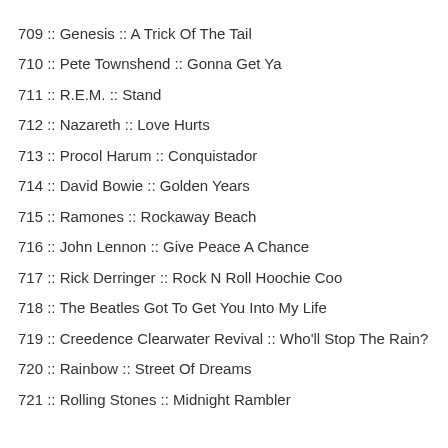709 :: Genesis :: A Trick Of The Tail
710 :: Pete Townshend :: Gonna Get Ya
711 :: R.E.M. :: Stand
712 :: Nazareth :: Love Hurts
713 :: Procol Harum :: Conquistador
714 :: David Bowie :: Golden Years
715 :: Ramones :: Rockaway Beach
716 :: John Lennon :: Give Peace A Chance
717 :: Rick Derringer :: Rock N Roll Hoochie Coo
718 :: The Beatles Got To Get You Into My Life
719 :: Creedence Clearwater Revival :: Who'll Stop The Rain?
720 :: Rainbow :: Street Of Dreams
721 :: Rolling Stones :: Midnight Rambler